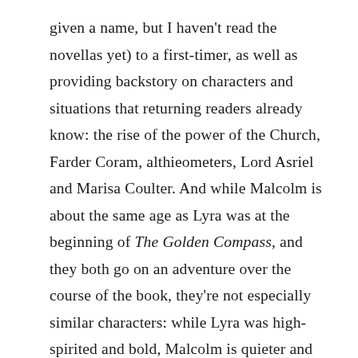given a name, but I haven't read the novellas yet) to a first-timer, as well as providing backstory on characters and situations that returning readers already know: the rise of the power of the Church, Farder Coram, althieometers, Lord Asriel and Marisa Coulter. And while Malcolm is about the same age as Lyra was at the beginning of The Golden Compass, and they both go on an adventure over the course of the book, they're not especially similar characters: while Lyra was high-spirited and bold, Malcolm is quieter and more solitary. He's got a decent amount of pluck, though, and makes an engaging hero that you get emotionally invested in.